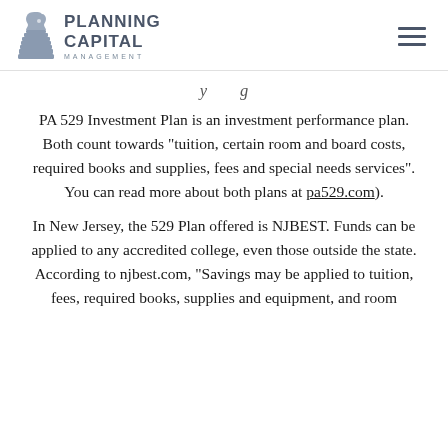Planning Capital Management
PA 529 Investment Plan is an investment performance plan. Both count towards “tuition, certain room and board costs, required books and supplies, fees and special needs services”. You can read more about both plans at pa529.com).
In New Jersey, the 529 Plan offered is NJBEST. Funds can be applied to any accredited college, even those outside the state. According to njbest.com, “Savings may be applied to tuition, fees, required books, supplies and equipment, and room